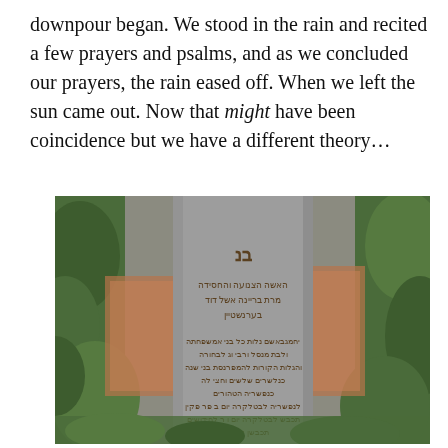downpour began. We stood in the rain and recited a few prayers and psalms, and as we concluded our prayers, the rain eased off. When we left the sun came out. Now that might have been coincidence but we have a different theory…
[Figure (photo): A photograph of a grey granite Jewish gravestone with Hebrew inscriptions, surrounded by green foliage and brownish-red stone walls in the background.]